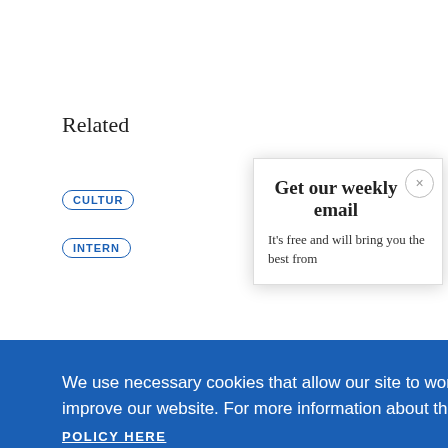Related
CULTUR
INTERN
Get our weekly email
It's free and will bring you the best from
We use necessary cookies that allow our site to work. We also set optional cookies that help us improve our website. For more information about the types of cookies we use.
READ OUR COOKIES POLICY HERE
COOKIE SETTINGS
ALLOW ALL COOKIES
data.
This article is